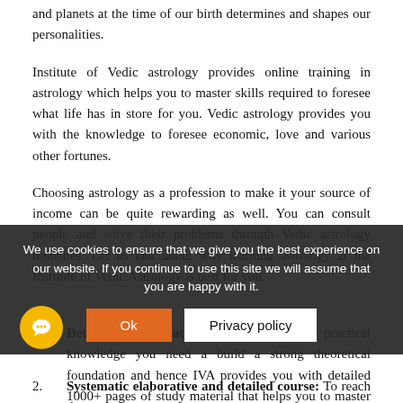and planets at the time of our birth determines and shapes our personalities.
Institute of Vedic astrology provides online training in astrology which helps you to master skills required to foresee what life has in store for you. Vedic astrology provides you with the knowledge to foresee economic, love and various other fortunes.
Choosing astrology as a profession to make it your source of income can be quite rewarding as well. You can consult people and solve their problems through Vedic astrology remedies. Let us talk about why learning astrology at the Institute of Vedic Astrology is best for you.
1. Detailed study material: To build perfect practical knowledge you need a build a strong theoretical foundation and hence IVA provides you with detailed 1000+ pages of study material that helps you to master your art.
We use cookies to ensure that we give you the best experience on our website. If you continue to use this site we will assume that you are happy with it.
2. Systematic elaborative and detailed course: To reach the summit,